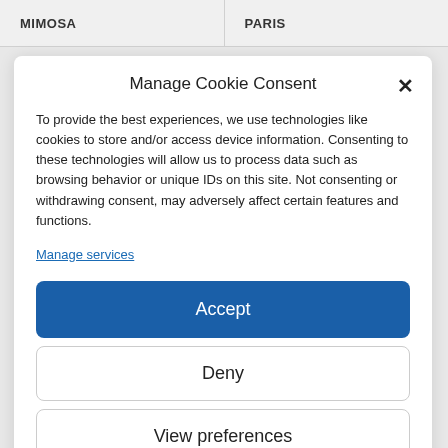MIMOSA	PARIS
Manage Cookie Consent
To provide the best experiences, we use technologies like cookies to store and/or access device information. Consenting to these technologies will allow us to process data such as browsing behavior or unique IDs on this site. Not consenting or withdrawing consent, may adversely affect certain features and functions.
Manage services
Accept
Deny
View preferences
Privacy policy